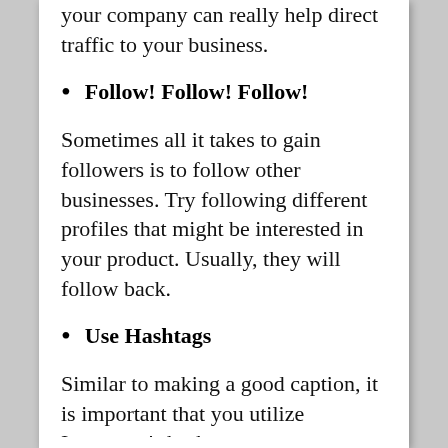your company can really help direct traffic to your business.
Follow! Follow! Follow!
Sometimes all it takes to gain followers is to follow other businesses. Try following different profiles that might be interested in your product. Usually, they will follow back.
Use Hashtags
Similar to making a good caption, it is important that you utilize Instagram's hashtag system. Hashtags, like keywords or